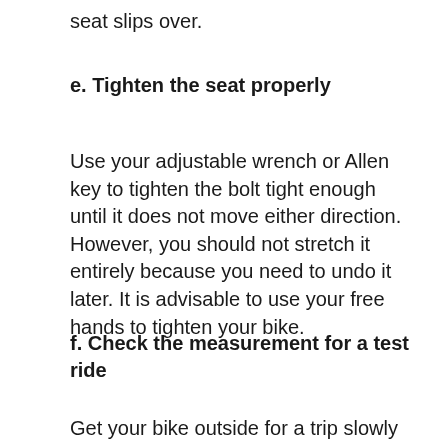seat slips over.
e. Tighten the seat properly
Use your adjustable wrench or Allen key to tighten the bolt tight enough until it does not move either direction. However, you should not stretch it entirely because you need to undo it later. It is advisable to use your free hands to tighten your bike.
f. Check the measurement for a test ride
Get your bike outside for a trip slowly